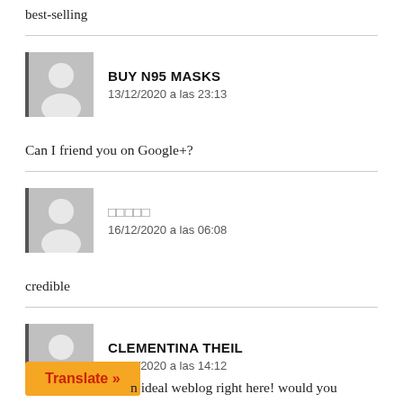best-selling
BUY N95 MASKS
13/12/2020 a las 23:13
Can I friend you on Google+?
□□□□□
16/12/2020 a las 06:08
credible
CLEMENTINA THEIL
19/12/2020 a las 14:12
n ideal weblog right here! would you